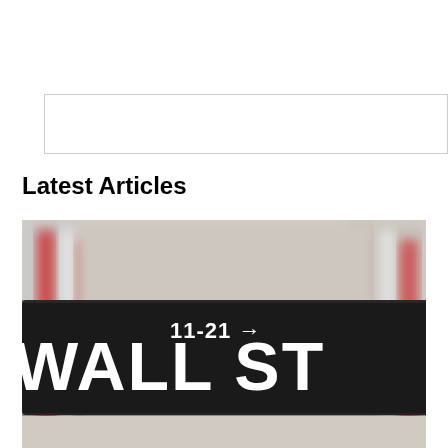[Figure (other): Empty search box / input field with light gray border]
Latest Articles
[Figure (photo): Close-up photograph of a Wall Street street sign (black rectangular sign with white text reading '11-21 →' and 'WALL ST') with blurred American flags in the background]